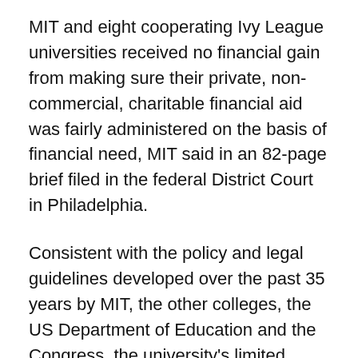MIT and eight cooperating Ivy League universities received no financial gain from making sure their private, non-commercial, charitable financial aid was fairly administered on the basis of financial need, MIT said in an 82-page brief filed in the federal District Court in Philadelphia.
Consistent with the policy and legal guidelines developed over the past 35 years by MIT, the other colleges, the US Department of Education and the Congress, the university's limited financial aid resources were distributed only to students with financial need.
In response to the application of these guidelines, the MIT brief comments that the Antitrust Division